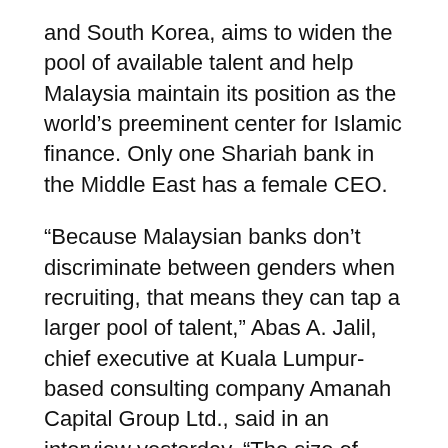and South Korea, aims to widen the pool of available talent and help Malaysia maintain its position as the world's preeminent center for Islamic finance. Only one Shariah bank in the Middle East has a female CEO.
“Because Malaysian banks don’t discriminate between genders when recruiting, that means they can tap a larger pool of talent,” Abas A. Jalil, chief executive at Kuala Lumpur-based consulting company Amanah Capital Group Ltd., said in an interview yesterday. “The size of Malaysia’s Islamic finance industry speaks for itself. Having women in executive positions allows the banks to have a more diverse point of view among the management about any certain issue at hand.